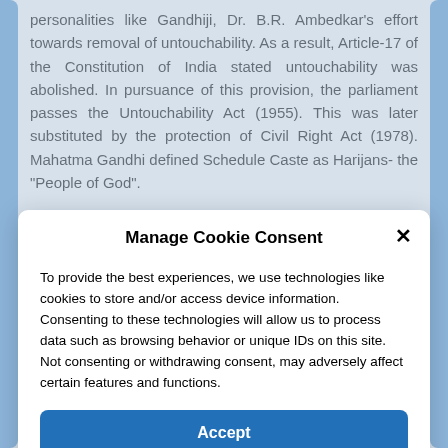personalities like Gandhiji, Dr. B.R. Ambedkar's effort towards removal of untouchability. As a result, Article-17 of the Constitution of India stated untouchability was abolished. In pursuance of this provision, the parliament passes the Untouchability Act (1955). This was later substituted by the protection of Civil Right Act (1978). Mahatma Gandhi defined Schedule Caste as Harijans- the "People of God".
Schedule Tribes (ST)
Manage Cookie Consent
To provide the best experiences, we use technologies like cookies to store and/or access device information. Consenting to these technologies will allow us to process data such as browsing behavior or unique IDs on this site. Not consenting or withdrawing consent, may adversely affect certain features and functions.
Accept
Cookie Policy   PRIVACY POLICY